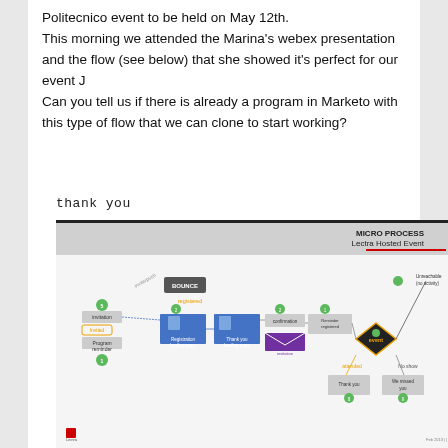Politecnico event to be held on May 12th. This morning we attended the Marina's webex presentation and the flow (see below) that she showed it's perfect for our event J Can you tell us if there is already a program in Marketo with this type of flow that we can clone to start working?
thank you
[Figure (flowchart): MICRO PROCESS Lectra Hosted Event flowchart showing email invitation flow with BOUNCE path, registration landing page, thank you landing page, confirmation email, event decision diamond (attended/No show), thank you email, We missed you email, and Unreachable (no activity) branch with numbered steps and colored circles.]